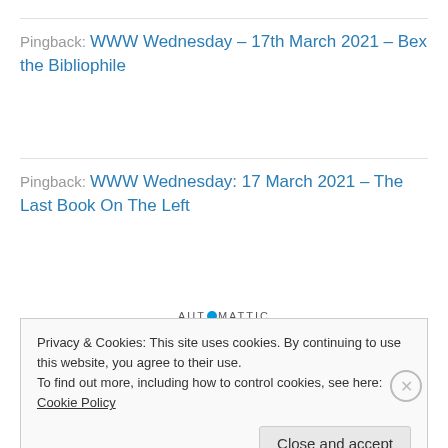Pingback: WWW Wednesday – 17th March 2021 – Bex the Bibliophile
Pingback: WWW Wednesday: 17 March 2021 – The Last Book On The Left
[Figure (other): Automattic advertisement: logo text 'AUTOMATTIC' with circular O, tagline 'Build a better web and a better world.']
REPORT THIS AD
Privacy & Cookies: This site uses cookies. By continuing to use this website, you agree to their use.
To find out more, including how to control cookies, see here: Cookie Policy
Close and accept